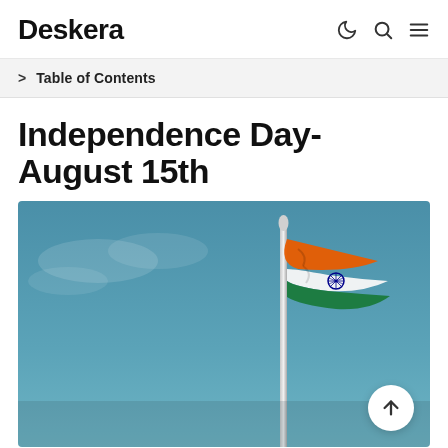Deskera
> Table of Contents
Independence Day- August 15th
[Figure (photo): Indian national flag waving on a flagpole against a blue sky, photographed from below showing orange, white, and green stripes with the Ashoka Chakra in the center]